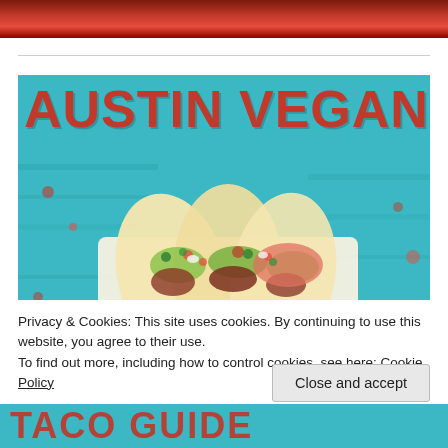[Figure (photo): Top strip showing red food/salsa close-up photo]
[Figure (photo): Main image showing 'AUSTIN VEGAN' text in large orange-red distressed font over a teal/turquoise wooden background with vegan tacos in flour tortillas loaded with guacamole, salsa, and toppings in a white paper tray]
Privacy & Cookies: This site uses cookies. By continuing to use this website, you agree to their use.
To find out more, including how to control cookies, see here: Cookie Policy
[Figure (photo): Bottom strip showing partial 'TACO GUIDE' text in orange-red distressed font on teal background]